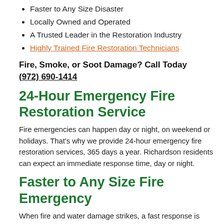Faster to Any Size Disaster
Locally Owned and Operated
A Trusted Leader in the Restoration Industry
Highly Trained Fire Restoration Technicians
Fire, Smoke, or Soot Damage? Call Today (972) 690-1414
24-Hour Emergency Fire Restoration Service
Fire emergencies can happen day or night, on weekend or holidays. That's why we provide 24-hour emergency fire restoration services, 365 days a year. Richardson residents can expect an immediate response time, day or night.
Faster to Any Size Fire Emergency
When fire and water damage strikes, a fast response is critical. We're dedicated to responding immediately day or night to your Richardson home or business. A faster response helps to prevent secondary damage and helps to